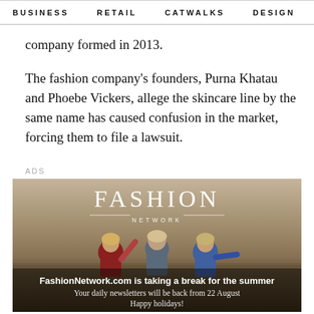BUSINESS   RETAIL   CATWALKS   DESIGN   CAMI >
company formed in 2013.
The fashion company's founders, Purna Khatau and Phoebe Vickers, allege the skincare line by the same name has caused confusion in the market, forcing them to file a lawsuit.
ADS
[Figure (photo): Fashion Network advertisement banner showing three young people in a field with text: FashionNetwork.com is taking a break for the summer. Your daily newsletters will be back from 22 August. Happy holidays!]